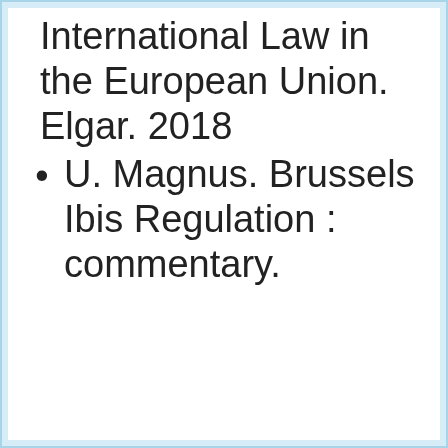International Law in the European Union. Elgar. 2018
U. Magnus. Brussels Ibis Regulation : commentary.